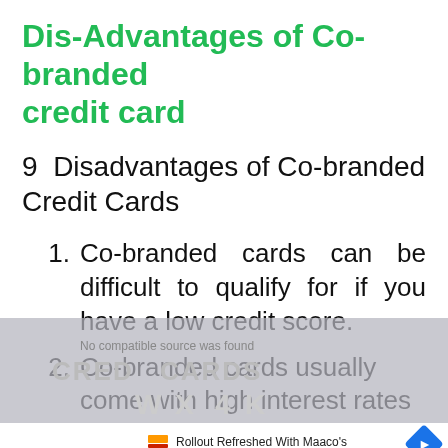Dis-Advantages of Co-branded credit card
9 Disadvantages of Co-branded Credit Cards
Co-branded cards can be difficult to qualify for if you have a low credit score.
Co-branded cards usually come with high interest rates
[Figure (other): Advertisement overlay with Maaco paint service ad and video player controls, partially covering the page content]